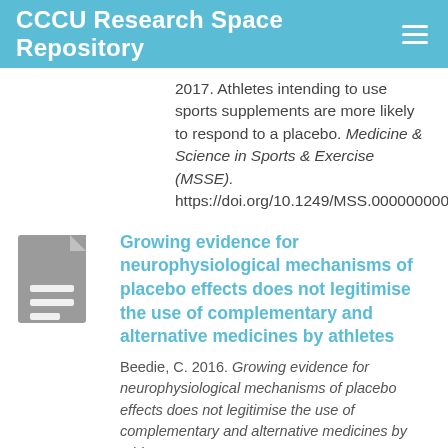CCCU Research Space Repository
2017. Athletes intending to use sports supplements are more likely to respond to a placebo. Medicine & Science in Sports & Exercise (MSSE). https://doi.org/10.1249/MSS.0000000000001297
[Figure (illustration): Grey document icon with lines representing text]
Growing evidence for neurophysiological mechanisms of placebo effects does not legitimise the use of complementary and alternative medicines by athletes
Beedie, C. 2016. Growing evidence for neurophysiological mechanisms of placebo effects does not legitimise the use of complementary and alternative medicines by athletes